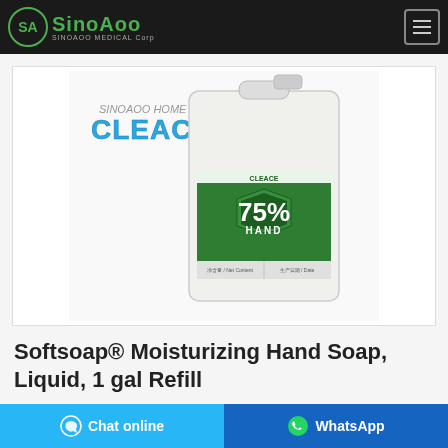SinoAoo Medical Corp
[Figure (photo): Large white plastic jerry can / container with a green label showing '75% Hand' sanitizer branding (Cleace brand), along with the Cleace logo in the upper left of the image.]
Softsoap® Moisturizing Hand Soap, Liquid, 1 gal Refill